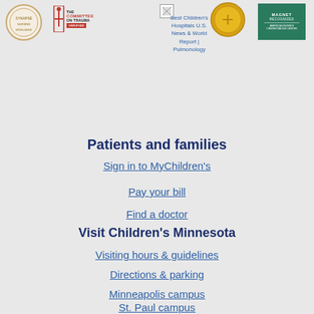[Figure (logo): Row of accreditation and award logos: circular badge, Committee on Trauma logo, Best Children's Hospitals U.S. News & World Report Pulmonology badge with gold medal, and Magnet Recognized logo]
Best Children's Hospitals U.S. News & World Report | Pulmonology
Patients and families
Sign in to MyChildren's
Pay your bill
Find a doctor
Visit Children's Minnesota
Visiting hours & guidelines
Directions & parking
Minneapolis campus
St. Paul campus